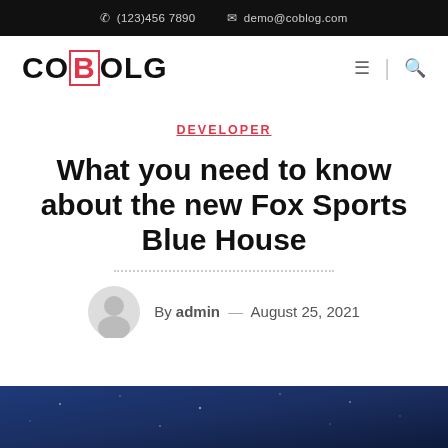☎ (123)456 7890   ✉ demo@coblog.com
[Figure (logo): COBLOG logo with red outlined B]
DEVELOPER
What you need to know about the new Fox Sports Blue House
By admin — August 25, 2021
[Figure (photo): Dark blue night sky background image at bottom of page]